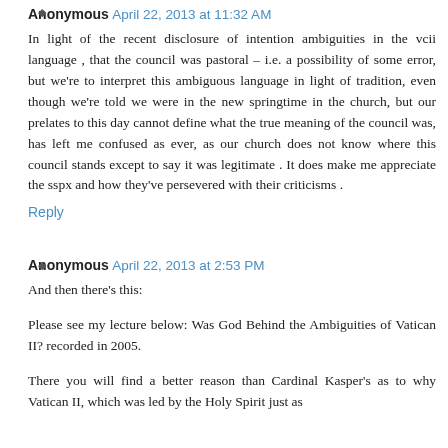Anonymous April 22, 2013 at 11:32 AM
In light of the recent disclosure of intention ambiguities in the vcii language , that the council was pastoral – i.e. a possibility of some error, but we're to interpret this ambiguous language in light of tradition, even though we're told we were in the new springtime in the church, but our prelates to this day cannot define what the true meaning of the council was, has left me confused as ever, as our church does not know where this council stands except to say it was legitimate . It does make me appreciate the sspx and how they've persevered with their criticisms .
Reply
Anonymous April 22, 2013 at 2:53 PM
And then there's this:
Please see my lecture below: Was God Behind the Ambiguities of Vatican II? recorded in 2005.
There you will find a better reason than Cardinal Kasper's as to why Vatican II, which was led by the Holy Spirit just as